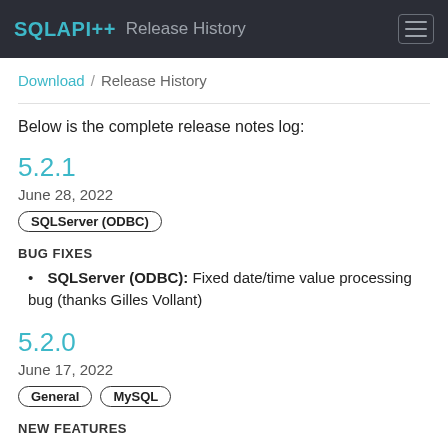SQLAPI++ Release History
Download / Release History
Below is the complete release notes log:
5.2.1
June 28, 2022
SQLServer (ODBC)
BUG FIXES
SQLServer (ODBC): Fixed date/time value processing bug (thanks Gilles Vollant)
5.2.0
June 17, 2022
General  MySQL
NEW FEATURES